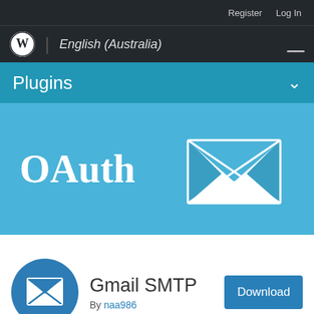Register  Log In
WordPress | English (Australia)
Plugins
[Figure (logo): OAuth banner with envelope/mail icon on blue background]
[Figure (logo): Gmail SMTP plugin icon: white envelope on dark blue circle]
Gmail SMTP
By naa986